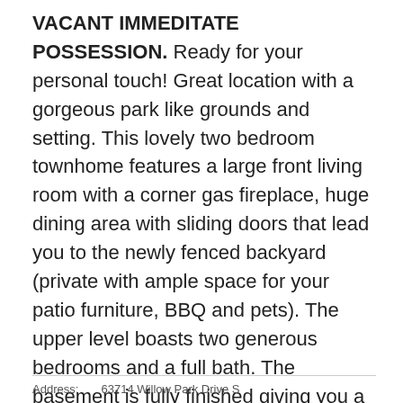VACANT IMMEDITATE POSSESSION. Ready for your personal touch! Great location with a gorgeous park like grounds and setting. This lovely two bedroom townhome features a large front living room with a corner gas fireplace, huge dining area with sliding doors that lead you to the newly fenced backyard (private with ample space for your patio furniture, BBQ and pets). The upper level boasts two generous bedrooms and a full bath. The basement is fully finished giving you a second living space and fireplace. This unit also features brand new windows. Willow Tree Village is situated directly across the street from the Willow Park golf course, has on site outdoor swimming pool, hot tub, tennis courts, sauna, and open BBQ social area. This unit one in door parking stall (garage 3) and ample visitor parking. Great opportunity to own in this highly desirable complex.
Address: 63714 Willow Park Drive S...